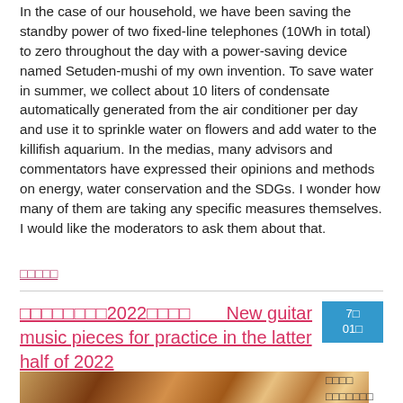In the case of our household, we have been saving the standby power of two fixed-line telephones (10Wh in total) to zero throughout the day with a power-saving device named Setuden-mushi of my own invention. To save water in summer, we collect about 10 liters of condensate automatically generated from the air conditioner per day and use it to sprinkle water on flowers and add water to the killifish aquarium. In the medias, many advisors and commentators have expressed their opinions and methods on energy, water conservation and the SDGs. I wonder how many of them are taking any specific measures themselves. I would like the moderators to ask them about that.
□□□□□
□□□□□□□□2022□□□□　　New guitar music pieces for practice in the latter half of 2022
[Figure (photo): Close-up photograph of guitar strings and body, warm brown and orange tones]
□□□□ □□□□□□□ □□□□□□□ □□□□□□